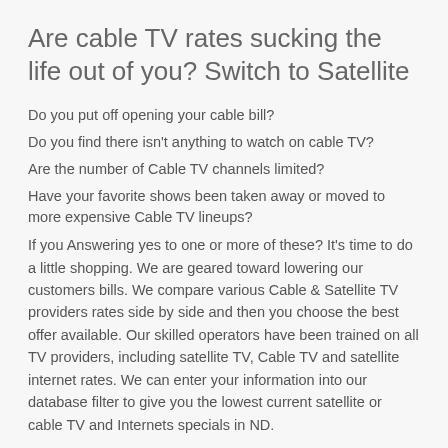Are cable TV rates sucking the life out of you? Switch to Satellite
Do you put off opening your cable bill?
Do you find there isn’t anything to watch on cable TV?
Are the number of Cable TV channels limited?
Have your favorite shows been taken away or moved to more expensive Cable TV lineups?
If you Answering yes to one or more of these? It’s time to do a little shopping. We are geared toward lowering our customers bills. We compare various Cable & Satellite TV providers rates side by side and then you choose the best offer available. Our skilled operators have been trained on all TV providers, including satellite TV, Cable TV and satellite internet rates. We can enter your information into our database filter to give you the lowest current satellite or cable TV and Internets specials in ND.